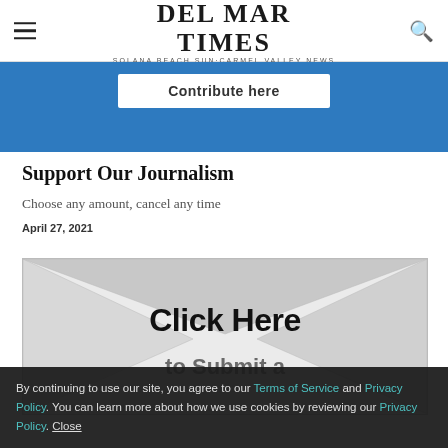Del Mar Times — Solana Beach Sun·Carmel Valley News
[Figure (other): Blue banner with 'Contribute here' button]
Support Our Journalism
Choose any amount, cancel any time
April 27, 2021
[Figure (other): Envelope illustration with 'Click Here to Submit a' text overlaid]
By continuing to use our site, you agree to our Terms of Service and Privacy Policy. You can learn more about how we use cookies by reviewing our Privacy Policy. Close